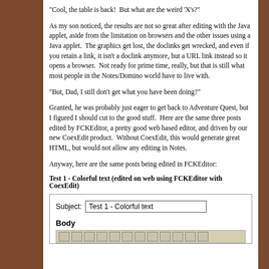"Cool, the table is back!  But what are the weird 'X's?"
As my son noticed, the results are not so great after editing with the Java applet, aside from the limitation on browsers and the other issues using a Java applet.  The graphics get lost, the doclinks get wrecked, and even if you retain a link, it isn't a doclink anymore, but a URL link instead so it opens a browser.  Not ready for prime time, really, but that is still what most people in the Notes/Domino world have to live with.
"But, Dad, I still don't get what you have been doing?"
Granted, he was probably just eager to get back to Adventure Quest, but I figured I should cut to the good stuff.  Here are the same three posts edited by FCKEditor, a pretty good web based editor, and driven by our new CoexEdit product.  Without CoexEdit, this would generate great HTML, but would not allow any editing in Notes.
Anyway, here are the same posts being edited in FCKEditor:
Test 1 - Colorful text (edited on web using FCKEditor with CoexEdit)
[Figure (screenshot): A form-like UI showing a Subject field with value 'Test 1 - Colorful text', a Body label in bold, and a toolbar strip below.]